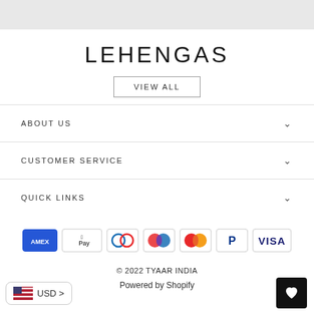[Figure (other): Gray header bar at top of page]
LEHENGAS
VIEW ALL
ABOUT US
CUSTOMER SERVICE
QUICK LINKS
[Figure (other): Payment icons: American Express, Apple Pay, Diners Club, Maestro, Mastercard, PayPal, Visa]
© 2022 TYAAR INDIA
Powered by Shopify
USD >